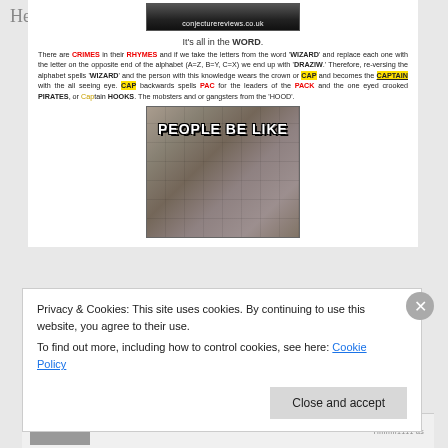[Figure (photo): Dark image with text 'conjecturereviews.co.uk' at the bottom]
It's all in the WORD.
There are CRIMES in their RHYMES and if we take the letters from the word 'WIZARD' and replace each one with the letter on the opposite end of the alphabet (A=Z, B=Y, C=X) we end up with 'DRAZIW.' Therefore, re-versing the alphabet spells 'WIZARD' and the person with this knowledge wears the crown or CAP and becomes the CAPTAIN with the all seeing eye. CAP backwards spells PAC for the leaders of the PACK and the one eyed crooked PIRATES, or Captain HOOKS. The mobsters and or gangsters from the 'HOOD'.
[Figure (photo): Meme image with text 'PEOPLE BE LIKE' over a collage of faces]
Her "ANUS or A SUN and the 'rise' of the SON GODS."
Privacy & Cookies: This site uses cookies. By continuing to use this website, you agree to their use.
To find out more, including how to control cookies, see here: Cookie Policy